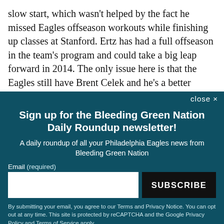slow start, which wasn't helped by the fact he missed Eagles offseason workouts while finishing up classes at Stanford. Ertz has had a full offseason in the team's program and could take a big leap forward in 2014. The only issue here is that the Eagles still have Brent Celek and he's a better blocker than Ertz. Blocking
close ×
Sign up for the Bleeding Green Nation Daily Roundup newsletter!
A daily roundup of all your Philadelphia Eagles news from Bleeding Green Nation
Email (required)
SUBSCRIBE
By submitting your email, you agree to our Terms and Privacy Notice. You can opt out at any time. This site is protected by reCAPTCHA and the Google Privacy Policy and Terms of Service apply.